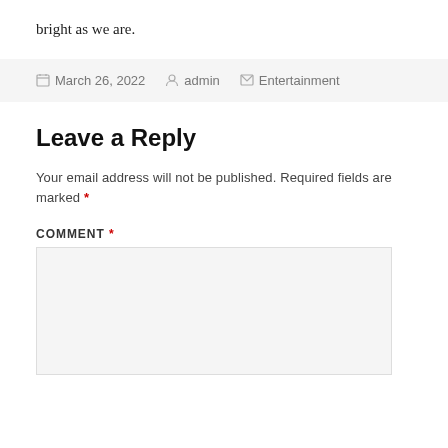bright as we are.
March 26, 2022  admin  Entertainment
Leave a Reply
Your email address will not be published. Required fields are marked *
COMMENT *